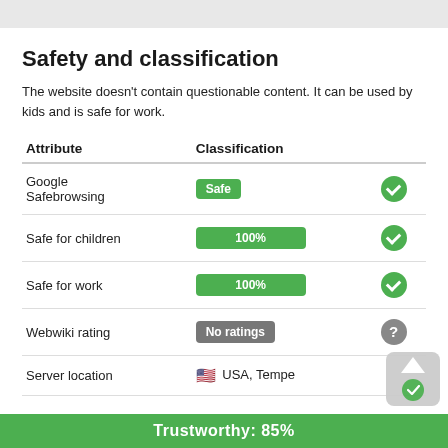Safety and classification
The website doesn't contain questionable content. It can be used by kids and is safe for work.
| Attribute | Classification |  |
| --- | --- | --- |
| Google Safebrowsing | Safe | ✓ |
| Safe for children | 100% | ✓ |
| Safe for work | 100% | ✓ |
| Webwiki rating | No ratings | ? |
| Server location | 🇺🇸 USA, Tempe | ✓ |
Trustworthy: 85%